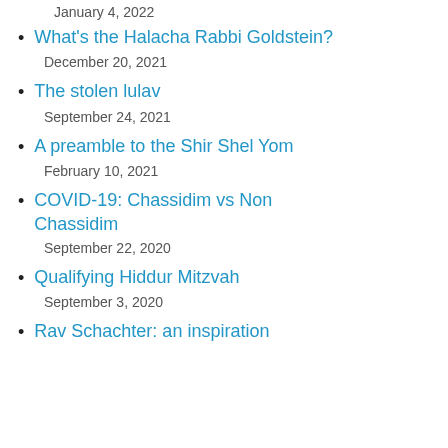January 4, 2022
What's the Halacha Rabbi Goldstein?
December 20, 2021
The stolen lulav
September 24, 2021
A preamble to the Shir Shel Yom
February 10, 2021
COVID-19: Chassidim vs Non Chassidim
September 22, 2020
Qualifying Hiddur Mitzvah
September 3, 2020
Rav Schachter: an inspiration